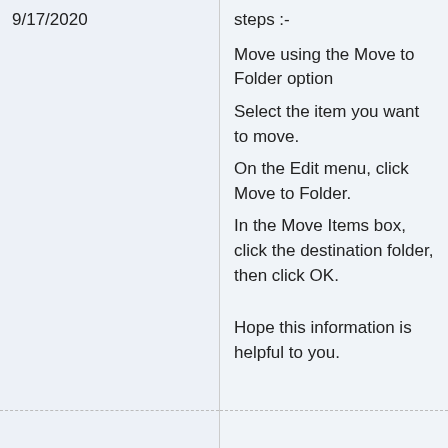9/17/2020
steps :-

Move using the Move to Folder option
Select the item you want to move.
On the Edit menu, click Move to Folder.
In the Move Items box, click the destination folder, then click OK.

Hope this information is helpful to you.